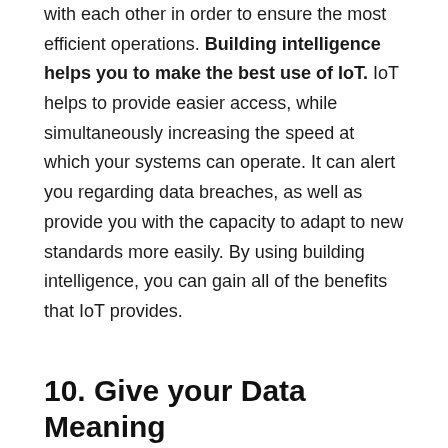with each other in order to ensure the most efficient operations. Building intelligence helps you to make the best use of IoT. IoT helps to provide easier access, while simultaneously increasing the speed at which your systems can operate. It can alert you regarding data breaches, as well as provide you with the capacity to adapt to new standards more easily. By using building intelligence, you can gain all of the benefits that IoT provides.
10. Give your Data Meaning
The various processes that are used in building intelligence helps you to organize your data into meaningful clusters. For example, you may choose to organize the information regarding a specific